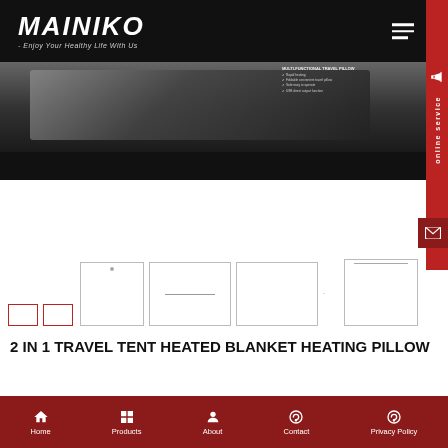MAINIKO - Enjoy Your Healthy Life With Us
[Figure (screenshot): Hero banner image showing a dark product photo of a travel tent heated blanket/heating pillow with text overlay listing product features]
[Figure (photo): Row of product thumbnail images showing the 2 in 1 Travel Tent Heated Blanket Heating Pillow from different angles]
2 IN 1 TRAVEL TENT HEATED BLANKET HEATING PILLOW
Home  Products  About  Contact  Privacy Policy